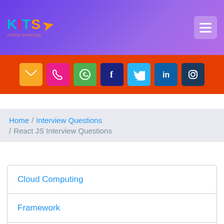KITS online trainings
[Figure (other): Social media icon bar with email, phone, WhatsApp, Facebook, Twitter, LinkedIn, Instagram icons on orange background]
Home / Interview Questions / React JS Interview Questions
Cloud Computing
Framework
Operating Systems